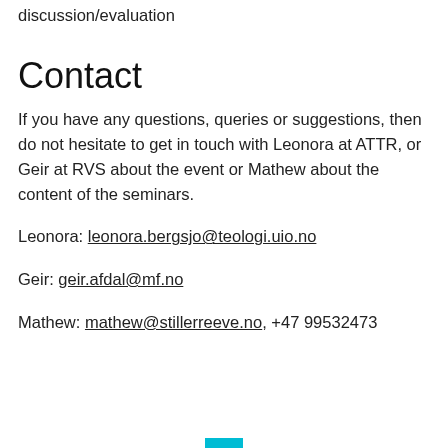discussion/evaluation
Contact
If you have any questions, queries or suggestions, then do not hesitate to get in touch with Leonora at ATTR, or Geir at RVS about the event or Mathew about the content of the seminars.
Leonora: leonora.bergsjo@teologi.uio.no
Geir: geir.afdal@mf.no
Mathew: mathew@stillerreeve.no, +47 99532473